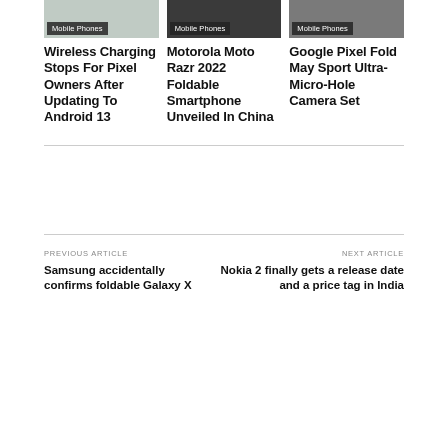[Figure (photo): Three mobile phone article thumbnails in a row with Mobile Phones category badges]
Wireless Charging Stops For Pixel Owners After Updating To Android 13
Motorola Moto Razr 2022 Foldable Smartphone Unveiled In China
Google Pixel Fold May Sport Ultra-Micro-Hole Camera Set
PREVIOUS ARTICLE
Samsung accidentally confirms foldable Galaxy X
NEXT ARTICLE
Nokia 2 finally gets a release date and a price tag in India